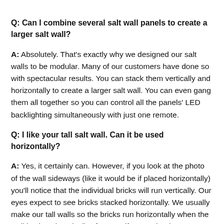Q: Can I combine several salt wall panels to create a larger salt wall?
A: Absolutely.  That's exactly why we designed our salt walls to be modular.  Many of our customers have done so with spectacular results.  You can stack them vertically and horizontally to create a larger salt wall.  You can even gang them all together so you can control all the panels' LED backlighting simultaneously with just one remote.
Q: I like your tall salt wall.  Can it be used horizontally?
A: Yes, it certainly can.  However, if you look at the photo of the wall sideways (like it would be if placed horizontally) you'll notice that the individual bricks will run vertically.  Our eyes expect to see bricks stacked horizontally.  We usually make our tall walls so the bricks run horizontally when the wall is placed vertically.  If you notify us at the time you order, we can create a 2' x 5' "long" wall that is designed to